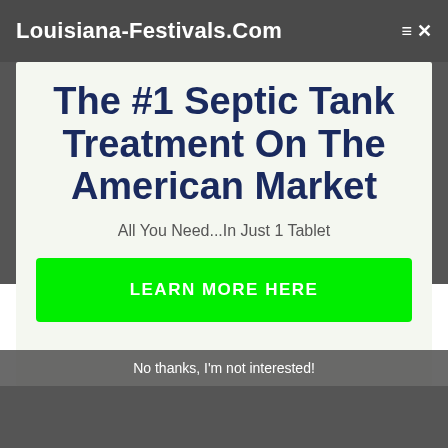Louisiana-Festivals.Com
The #1 Septic Tank Treatment On The American Market
All You Need...In Just 1 Tablet
LEARN MORE HERE
additives into 3 classifications: inorganic compounds, organic solvents, as well as organic
No thanks, I'm not interested!